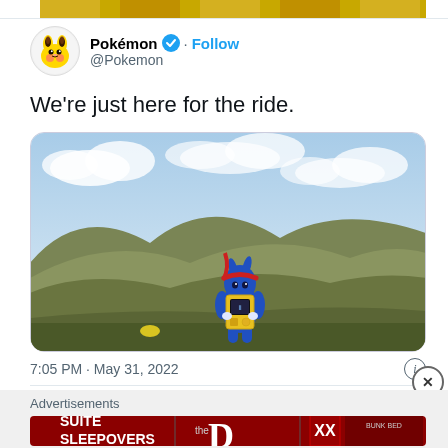[Figure (screenshot): Top banner strip showing golden/yellow decorative image bar at top of tweet page]
[Figure (photo): Pikachu avatar icon in circular frame - Pokémon Twitter profile picture]
Pokémon @Pokemon · Follow
We're just here for the ride.
[Figure (screenshot): Video game screenshot showing a Pokémon character (appears to be Lucario) holding a yellow device/Rotom Phone in front of a mountainous landscape with cloudy sky]
7:05 PM · May 31, 2022
Advertisements
[Figure (screenshot): Advertisement banner for 'SUITE SLEEPOVERS' at The D Las Vegas casino, showing red background with white bold text and hotel branding]